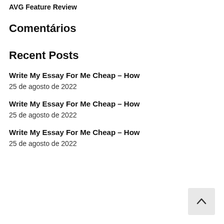AVG Feature Review
Comentários
Recent Posts
Write My Essay For Me Cheap – How
25 de agosto de 2022
Write My Essay For Me Cheap – How
25 de agosto de 2022
Write My Essay For Me Cheap – How
25 de agosto de 2022